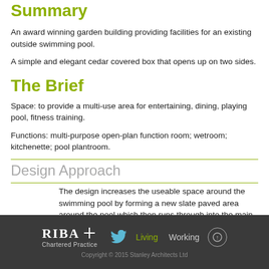Summary
An award winning garden building providing facilities for an existing outside swimming pool.
A simple and elegant cedar covered box that opens up on two sides.
The Brief
Space: to provide a multi-use area for entertaining, dining, playing pool, fitness training.
Functions: multi-purpose open-plan function room; wetroom; kitchenette; pool plantroom.
Design Approach
The design increases the useable space around the swimming pool by forming a new slate paved area around the pool which then runs through into the main
RIBA Chartered Practice  Living  Working  Copyright © 2015 Stanley Architects Ltd